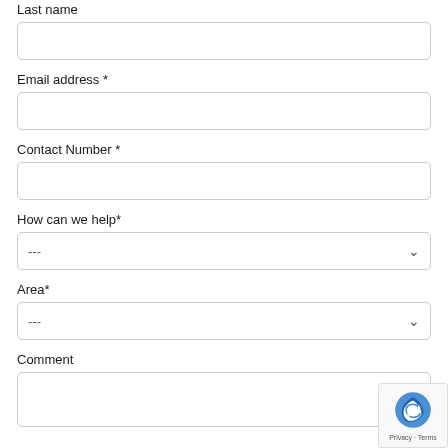Last name
[Figure (other): Empty text input field for Last name]
Email address *
[Figure (other): Empty text input field for Email address]
Contact Number *
[Figure (other): Empty text input field for Contact Number]
How can we help*
[Figure (other): Dropdown select field with --- placeholder for How can we help]
Area*
[Figure (other): Dropdown select field with --- placeholder for Area]
Comment
[Figure (other): Textarea input field for Comment]
[Figure (other): reCAPTCHA badge with Privacy and Terms links]